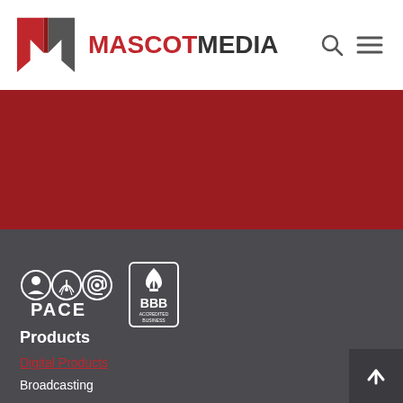[Figure (logo): Mascot Media logo with stylized M icon in red and gray, followed by bold text MASCOTMEDIA]
[Figure (other): Red banner section background]
[Figure (other): PACE certification badge with three icons (person, broadcast, @) and text PACE, alongside BBB Accredited Business seal]
Products
Digital Products
Broadcasting